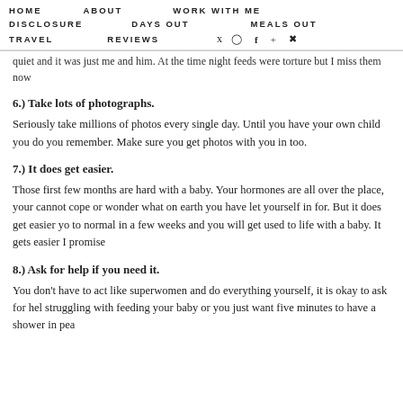HOME  ABOUT  WORK WITH ME  DISCLOSURE  DAYS OUT  MEALS OUT  TRAVEL  REVIEWS
It's terrible the amount you cannot remember. Try to film the first and 5.) Enjoy the night feeds. A camera will probably keep saying things, narrating them as they go up for feeds as I would give him his bottle while he cuddled up to me and he always fell quiet and it was just me and him. At the time night feeds were torture but I miss them now
6.) Take lots of photographs.
Seriously take millions of photos every single day. Until you have your own child you do you remember. Make sure you get photos with you in too.
7.) It does get easier.
Those first few months are hard with a baby. Your hormones are all over the place, your cannot cope or wonder what on earth you have let yourself in for. But it does get easier yo to normal in a few weeks and you will get used to life with a baby. It gets easier I promise
8.) Ask for help if you need it.
You don't have to act like superwomen and do everything yourself, it is okay to ask for hel struggling with feeding your baby or you just want five minutes to have a shower in pea